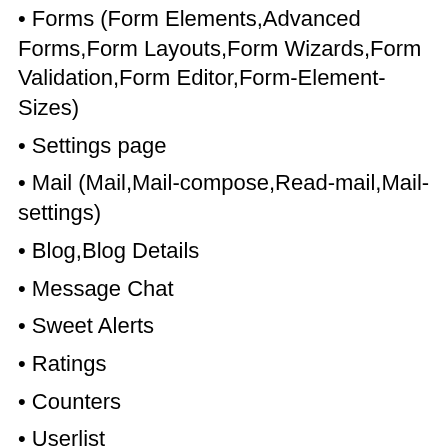• Forms (Form Elements,Advanced Forms,Form Layouts,Form Wizards,Form Validation,Form Editor,Form-Element-Sizes)
• Settings page
• Mail (Mail,Mail-compose,Read-mail,Mail-settings)
• Blog,Blog Details
• Message Chat
• Sweet Alerts
• Ratings
• Counters
• Userlist
• Edit Post
• Range Slider
• Image Comparision
• Notifications,Widget-Notifications